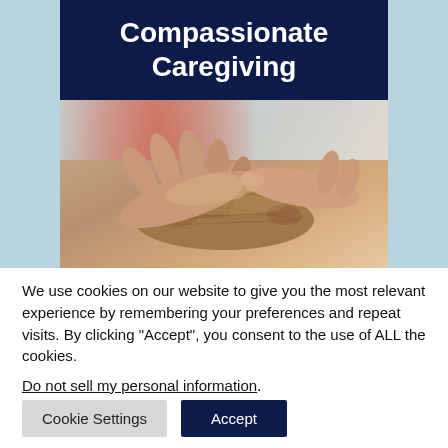[Figure (photo): Book or web page cover titled 'Compassionate Caregiving' with dark navy header text on dark blue background, and below it a photograph of two hands clasped together — a younger hand holding an older, wrinkled hand — suggesting caregiving or elder care.]
We use cookies on our website to give you the most relevant experience by remembering your preferences and repeat visits. By clicking “Accept”, you consent to the use of ALL the cookies.
Do not sell my personal information.